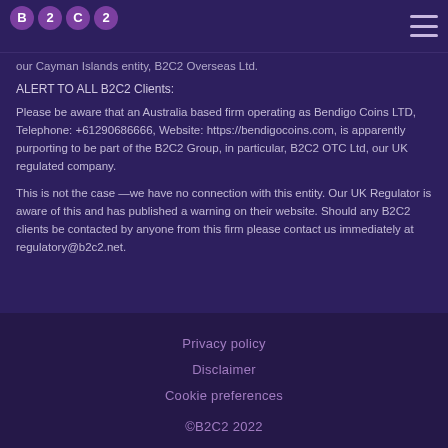B2C2 [logo] [hamburger menu]
our Cayman Islands entity, B2C2 Overseas Ltd.
ALERT TO ALL B2C2 Clients:
Please be aware that an Australia based firm operating as Bendigo Coins LTD, Telephone: +61290686666, Website: https://bendigocoins.com, is apparently purporting to be part of the B2C2 Group, in particular, B2C2 OTC Ltd, our UK regulated company.
This is not the case —we have no connection with this entity. Our UK Regulator is aware of this and has published a warning on their website. Should any B2C2 clients be contacted by anyone from this firm please contact us immediately at regulatory@b2c2.net.
Privacy policy
Disclaimer
Cookie preferences
©B2C2 2022